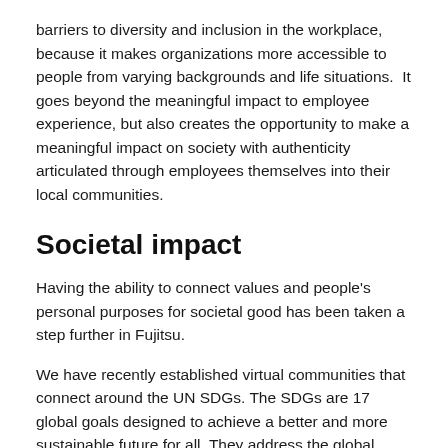barriers to diversity and inclusion in the workplace, because it makes organizations more accessible to people from varying backgrounds and life situations.  It goes beyond the meaningful impact to employee experience, but also creates the opportunity to make a meaningful impact on society with authenticity articulated through employees themselves into their local communities.
Societal impact
Having the ability to connect values and people's personal purposes for societal good has been taken a step further in Fujitsu.
We have recently established virtual communities that connect around the UN SDGs. The SDGs are 17 global goals designed to achieve a better and more sustainable future for all. They address the global challenges we face related to poverty, inequality, climate change, environmental degradation,